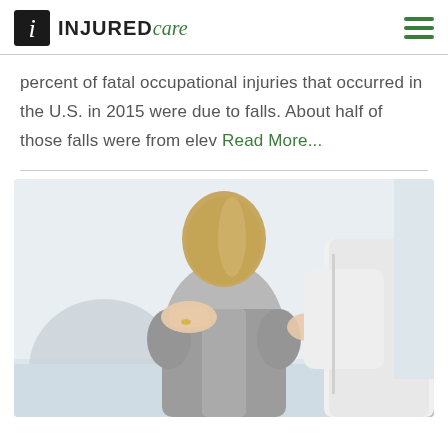INJURED care
percent of fatal occupational injuries that occurred in the U.S. in 2015 were due to falls. About half of those falls were from elev Read More...
[Figure (photo): A child in a gray t-shirt seen from behind, with a healthcare professional's hands on her back/shoulders, in a clinical setting with exercise ball in background]